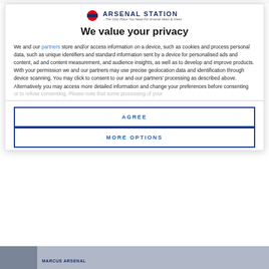[Figure (logo): Arsenal Station logo with London Underground roundel and text 'ARSENAL STATION – The Only Place You Need For Arsenal News & Views']
We value your privacy
We and our partners store and/or access information on a device, such as cookies and process personal data, such as unique identifiers and standard information sent by a device for personalised ads and content, ad and content measurement, and audience insights, as well as to develop and improve products. With your permission we and our partners may use precise geolocation data and identification through device scanning. You may click to consent to our and our partners' processing as described above. Alternatively you may access more detailed information and change your preferences before consenting
or to refuse consenting. Please note that some processing of your
AGREE
MORE OPTIONS